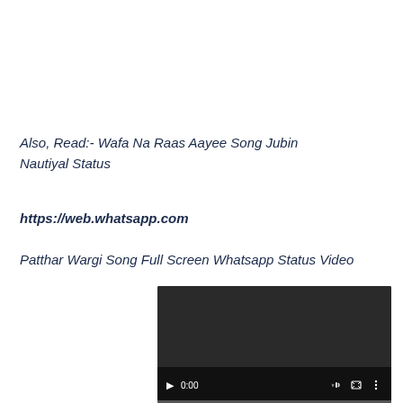Also, Read:- Wafa Na Raas Aayee Song Jubin Nautiyal Status
https://web.whatsapp.com
Patthar Wargi Song Full Screen Whatsapp Status Video
[Figure (screenshot): Video player showing 0:00 timestamp with dark background, play button, volume control, fullscreen and more options icons, and a progress bar at the bottom]